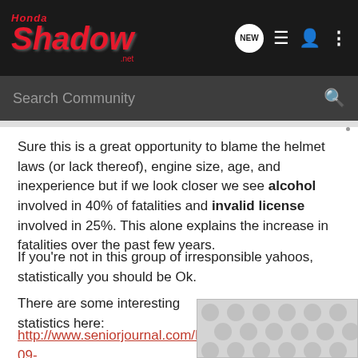Honda Shadow .net — Search Community
Sure this is a great opportunity to blame the helmet laws (or lack thereof), engine size, age, and inexperience but if we look closer we see alcohol involved in 40% of fatalities and invalid license involved in 25%. This alone explains the increase in fatalities over the past few years.
If you're not in this group of irresponsible yahoos, statistically you should be Ok.
There are some interesting statistics here:
http://www.seniorjournal.com/NEWS/SeniorStats/4-09-02Bikes...